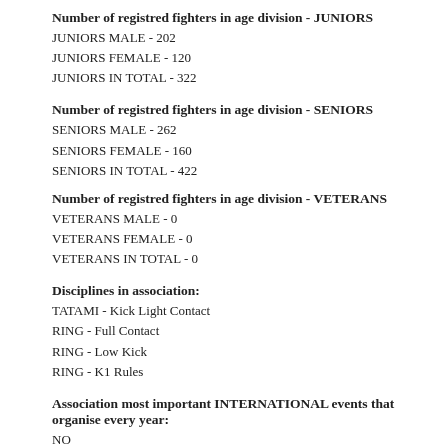Number of registred fighters in age division - JUNIORS
JUNIORS MALE - 202
JUNIORS FEMALE - 120
JUNIORS IN TOTAL - 322
Number of registred fighters in age division - SENIORS
SENIORS MALE - 262
SENIORS FEMALE - 160
SENIORS IN TOTAL - 422
Number of registred fighters in age division - VETERANS
VETERANS MALE  - 0
VETERANS FEMALE - 0
VETERANS IN TOTAL - 0
Disciplines in association:
TATAMI - Kick Light Contact
RING - Full Contact
RING - Low Kick
RING - K1 Rules
Association most important INTERNATIONAL events that organise every year:
NO
National championships during one year
For CADETS - 1